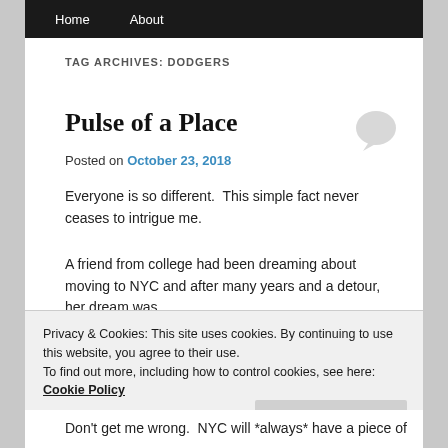Home   About
TAG ARCHIVES: DODGERS
Pulse of a Place
Posted on October 23, 2018
Everyone is so different.  This simple fact never ceases to intrigue me.
A friend from college had been dreaming about moving to NYC and after many years and a detour, her dream was
Privacy & Cookies: This site uses cookies. By continuing to use this website, you agree to their use.
To find out more, including how to control cookies, see here: Cookie Policy
Don't get me wrong.  NYC will *always* have a piece of